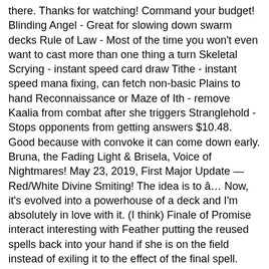there. Thanks for watching! Command your budget! Blinding Angel - Great for slowing down swarm decks Rule of Law - Most of the time you won't even want to cast more than one thing a turn Skeletal Scrying - instant speed card draw Tithe - instant speed mana fixing, can fetch non-basic Plains to hand Reconnaissance or Maze of Ith - remove Kaalia from combat after she triggers Stranglehold - Stops opponents from getting answers $10.48. Good because with convoke it can come down early. Bruna, the Fading Light & Brisela, Voice of Nightmares! May 23, 2019, First Major Update — Red/White Divine Smiting! The idea is to â¦ Now, it's evolved into a powerhouse of a deck and I'm absolutely in love with it. (I think) Finale of Promise interact interesting with Feather putting the reused spells back into your hand if she is on the field instead of exiling it to the effect of the final spell. Contact | Or will our dreams of victory go down the pipe thanks to Click-Clickyâs Elementals commanded by Feather the Redeemed, Orzoaâs Demons commanded by Kârrik Son of Yawgmoth, or Tondelâs [â¦] EDH deck with angel as